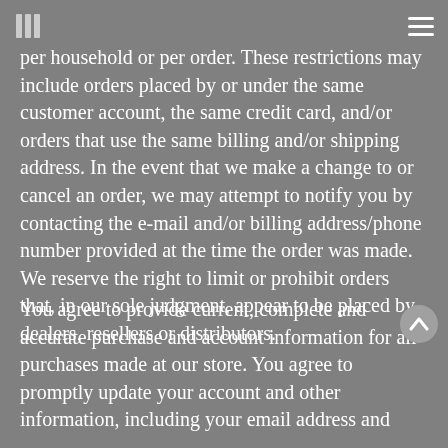per household or per order. These restrictions may include orders placed by or under the same customer account, the same credit card, and/or orders that use the same billing and/or shipping address. In the event that we make a change to or cancel an order, we may attempt to notify you by contacting the e-mail and/or billing address/phone number provided at the time the order was made. We reserve the right to limit or prohibit orders that, in our sole judgment, appear to be placed by dealers, resellers or distributors.
You agree to provide current, complete and accurate purchase and account information for all purchases made at our store. You agree t promptly update your account and other information, including your email address and